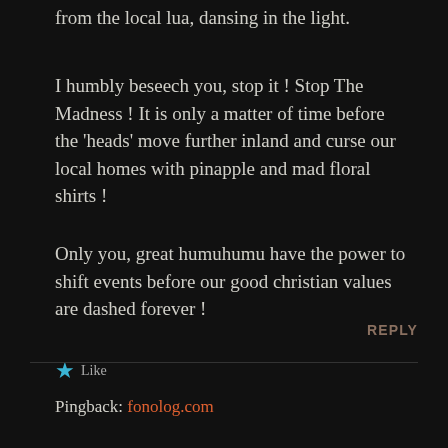from the local lua, dansing in the light.
I humbly beseech you, stop it ! Stop The Madness ! It is only a matter of time before the 'heads' move further inland and curse our local homes with pinapple and mad floral shirts !
Only you, great humuhumu have the power to shift events before our good christian values are dashed forever !
★ Like
REPLY
Pingback: fonolog.com